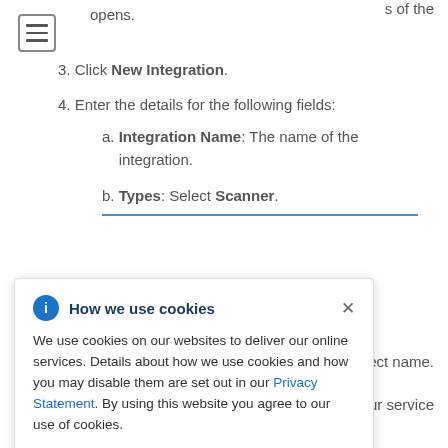The Configure Image Integration modal box opens.
[Figure (screenshot): Hamburger menu icon (three horizontal lines in a square button)]
3. Click New Integration.
4. Enter the details for the following fields:
a. Integration Name: The name of the integration.
b. Types: Select Scanner.
[Figure (screenshot): Cookie consent banner overlay with title 'How we use cookies', body text about cookie usage and Privacy Statement link, and a close (x) button.]
5. Select Test (checkmark icon) to test that the